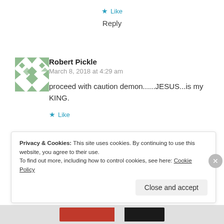★ Like
Reply
Robert Pickle
March 8, 2018 at 4:29 am
proceed with caution demon......JESUS...is my KING.
★ Like
Privacy & Cookies: This site uses cookies. By continuing to use this website, you agree to their use.
To find out more, including how to control cookies, see here: Cookie Policy
Close and accept